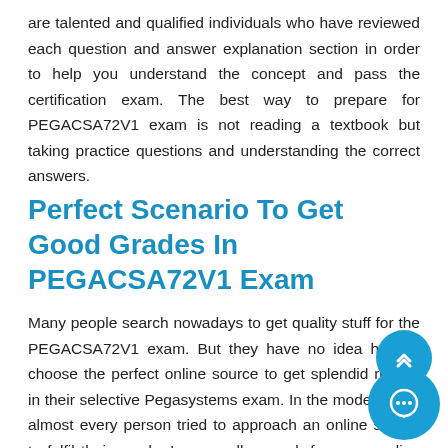are talented and qualified individuals who have reviewed each question and answer explanation section in order to help you understand the concept and pass the certification exam. The best way to prepare for PEGACSA72V1 exam is not reading a textbook but taking practice questions and understanding the correct answers.
Perfect Scenario To Get Good Grades In PEGACSA72V1 Exam
Many people search nowadays to get quality stuff for the PEGACSA72V1 exam. But they have no idea how to choose the perfect online source to get splendid results in their selective Pegasystems exam. In the modern age, almost every person tried to approach an online source to fulfil their needs. I personally search for many online platforms for PEGACSA72V1 exam preparation but the